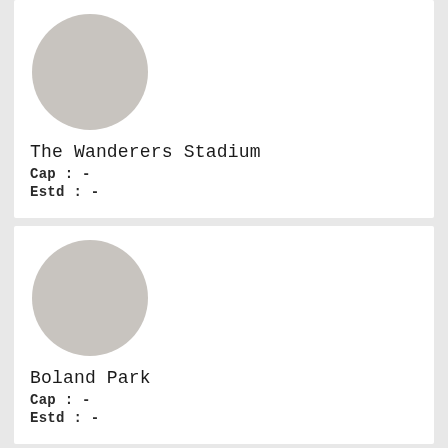[Figure (illustration): Circular grey placeholder avatar image for The Wanderers Stadium]
The Wanderers Stadium
Cap : -
Estd : -
[Figure (illustration): Circular grey placeholder avatar image for Boland Park]
Boland Park
Cap : -
Estd : -
[Figure (illustration): Circular grey placeholder avatar image, partially visible third card]